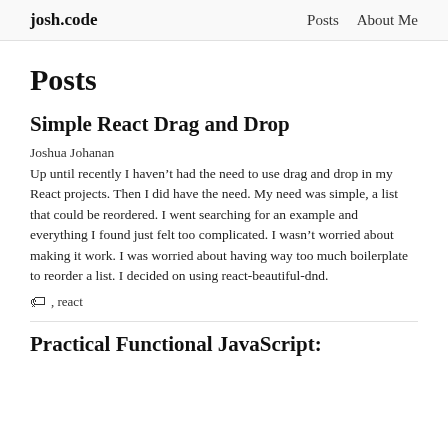josh.code   Posts   About Me
Posts
Simple React Drag and Drop
Joshua Johanan
Up until recently I haven’t had the need to use drag and drop in my React projects. Then I did have the need. My need was simple, a list that could be reordered. I went searching for an example and everything I found just felt too complicated. I wasn’t worried about making it work. I was worried about having way too much boilerplate to reorder a list. I decided on using react-beautiful-dnd.
🏷 , react
Practical Functional JavaScript: